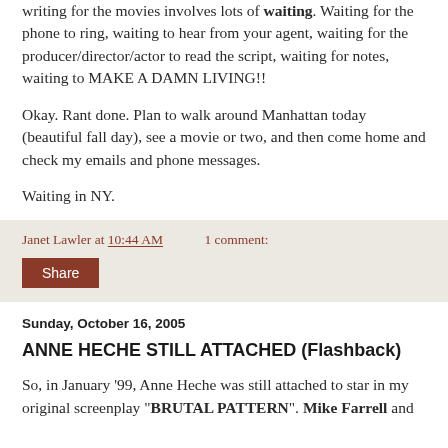writing for the movies involves lots of waiting. Waiting for the phone to ring, waiting to hear from your agent, waiting for the producer/director/actor to read the script, waiting for notes, waiting to MAKE A DAMN LIVING!!
Okay. Rant done. Plan to walk around Manhattan today (beautiful fall day), see a movie or two, and then come home and check my emails and phone messages.
Waiting in NY.
Janet Lawler at 10:44 AM    1 comment:
Share
Sunday, October 16, 2005
ANNE HECHE STILL ATTACHED (Flashback)
So, in January '99, Anne Heche was still attached to star in my original screenplay "BRUTAL PATTERN". Mike Farrell and